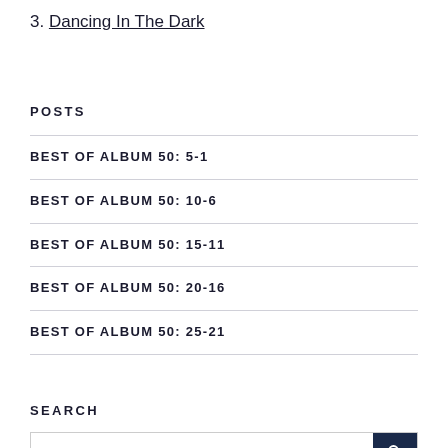3. Dancing In The Dark
POSTS
BEST OF ALBUM 50: 5-1
BEST OF ALBUM 50: 10-6
BEST OF ALBUM 50: 15-11
BEST OF ALBUM 50: 20-16
BEST OF ALBUM 50: 25-21
SEARCH